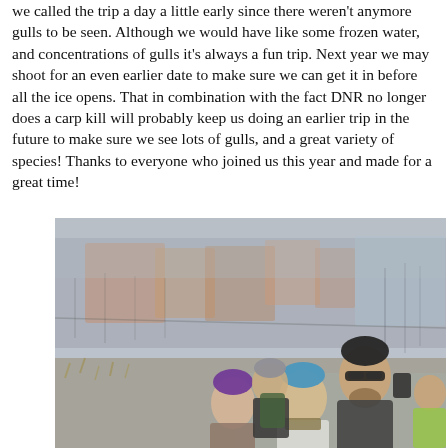we called the trip a day a little early since there weren't anymore gulls to be seen.  Although we would have like some frozen water, and concentrations of gulls it's always a fun trip.  Next year we may shoot for an even earlier date to make sure we can get it in before all the ice opens.  That in combination with the fact DNR no longer does a carp kill will probably keep us doing an earlier trip in the future to make sure we see lots of gulls, and a great variety of species!  Thanks to everyone who joined us this year and made for a great time!
[Figure (photo): A group of people dressed in winter clothing walking outdoors along a path, with a blurred wintry landscape background featuring bare grass and trees. People are wearing hats and warm jackets; one man in the center-right wears a black beanie and sunglasses and carries a camera on his back.]